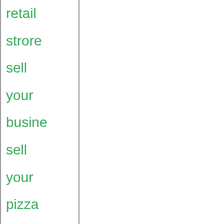retail
strore
sell
your
busine
sell
your
pizza
shop
sell
your
tampa
restaur
selling
your
tampa
busine
SPOR
BAR
tAMPA